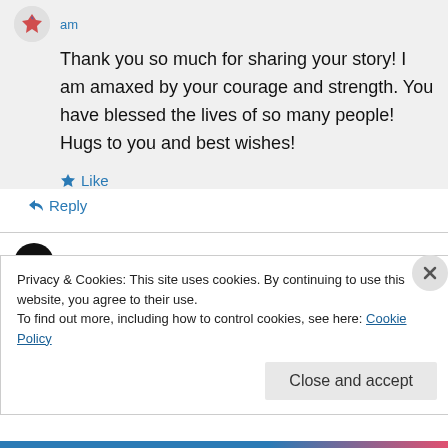am
Thank you so much for sharing your story! I am amaxed by your courage and strength. You have blessed the lives of so many people! Hugs to you and best wishes!
★ Like
↳ Reply
reinventionofmama on October 15, 2013 at 11:41 am
Privacy & Cookies: This site uses cookies. By continuing to use this website, you agree to their use.
To find out more, including how to control cookies, see here: Cookie Policy
Close and accept